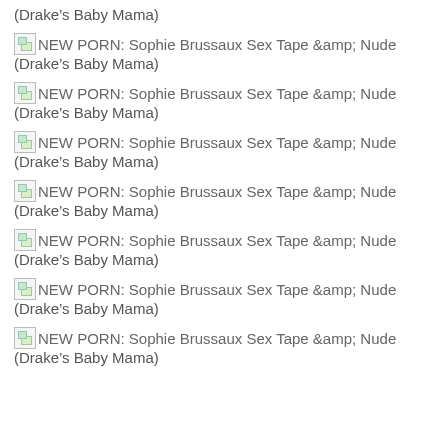(Drake’s Baby Mama)
NEW PORN: Sophie Brussaux Sex Tape &amp; Nude (Drake’s Baby Mama)
NEW PORN: Sophie Brussaux Sex Tape &amp; Nude (Drake’s Baby Mama)
NEW PORN: Sophie Brussaux Sex Tape &amp; Nude (Drake’s Baby Mama)
NEW PORN: Sophie Brussaux Sex Tape &amp; Nude (Drake’s Baby Mama)
NEW PORN: Sophie Brussaux Sex Tape &amp; Nude (Drake’s Baby Mama)
NEW PORN: Sophie Brussaux Sex Tape &amp; Nude (Drake’s Baby Mama)
NEW PORN: Sophie Brussaux Sex Tape &amp; Nude (Drake’s Baby Mama)